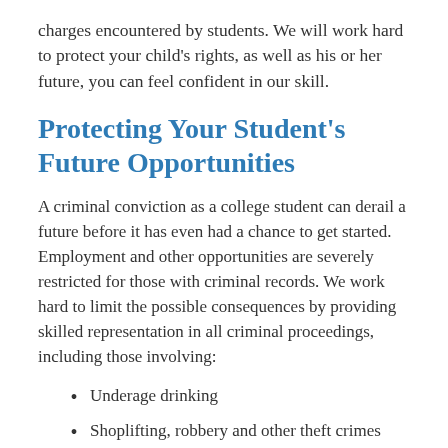charges encountered by students. We will work hard to protect your child's rights, as well as his or her future, you can feel confident in our skill.
Protecting Your Student's Future Opportunities
A criminal conviction as a college student can derail a future before it has even had a chance to get started. Employment and other opportunities are severely restricted for those with criminal records. We work hard to limit the possible consequences by providing skilled representation in all criminal proceedings, including those involving:
Underage drinking
Shoplifting, robbery and other theft crimes